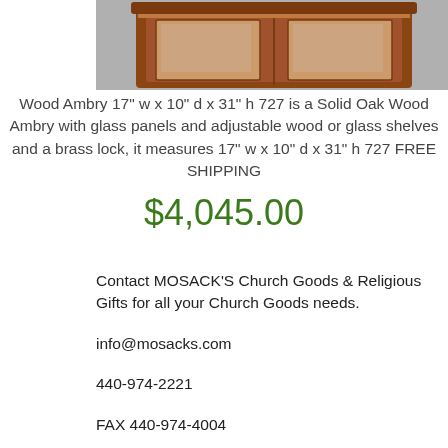[Figure (photo): Wooden ambry/cabinet with glass panels, made of solid oak, showing the top portion of the furniture piece against a gray background.]
Wood Ambry 17" w x 10" d x 31" h 727 is a Solid Oak Wood Ambry with glass panels and adjustable wood or glass shelves and a brass lock, it measures 17" w x 10" d x 31" h 727 FREE SHIPPING $4,045.00
Contact MOSACK'S Church Goods & Religious Gifts for all your Church Goods needs.
info@mosacks.com
440-974-2221
FAX 440-974-4004
800-779-9897 Ambry / Holy Oil Safe, Locking Ambries